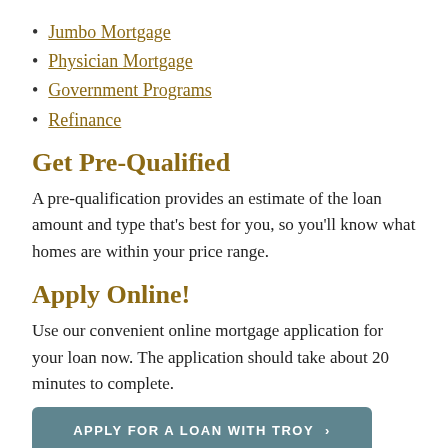Jumbo Mortgage
Physician Mortgage
Government Programs
Refinance
Get Pre-Qualified
A pre-qualification provides an estimate of the loan amount and type that’s best for you, so you’ll know what homes are within your price range.
Apply Online!
Use our convenient online mortgage application for your loan now. The application should take about 20 minutes to complete.
APPLY FOR A LOAN WITH TROY  ›